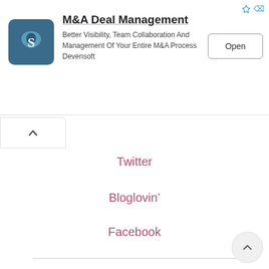[Figure (screenshot): Advertisement banner for M&A Deal Management by Devensoft with logo, description text, and Open button]
Twitter
Bloglovin'
Facebook
Share:
Twitter
Facebook
Email
Pinterest
More